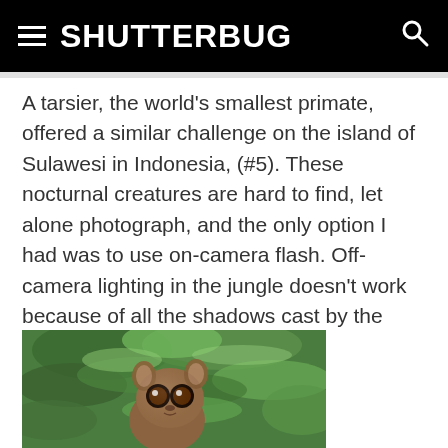SHUTTERBUG
A tarsier, the world’s smallest primate, offered a similar challenge on the island of Sulawesi in Indonesia, (#5). These nocturnal creatures are hard to find, let alone photograph, and the only option I had was to use on-camera flash. Off-camera lighting in the jungle doesn’t work because of all the shadows cast by the thick vegetation.
[Figure (photo): A tarsier, a small primate with large round eyes and big ears, perched among green tropical leaves in the jungle.]